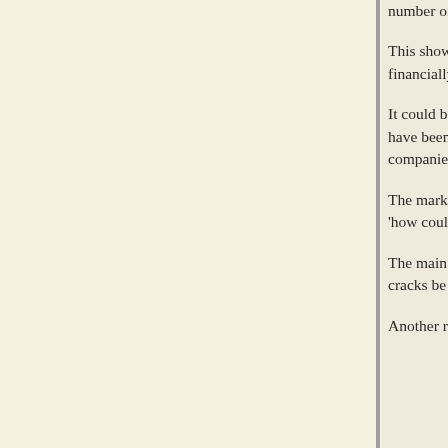number of sh
This shows t future divide financially bu stock to try t
It could be a because they have been m accounting w companies th
The market a slow and cor as 'how coul
The main po invested in a the cracks be
Another rele whose domin